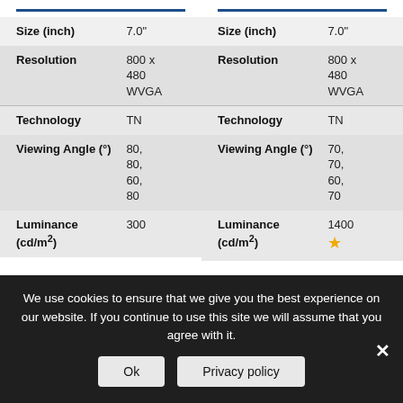| Spec | Value |
| --- | --- |
| Size (inch) | 7.0" |
| Resolution | 800 x 480 WVGA |
| Technology | TN |
| Viewing Angle (°) | 80, 80, 60, 80 |
| Luminance (cd/m²) | 300 |
| Spec | Value |
| --- | --- |
| Size (inch) | 7.0" |
| Resolution | 800 x 480 WVGA |
| Technology | TN |
| Viewing Angle (°) | 70, 70, 60, 70 |
| Luminance (cd/m²) | 1400 |
We use cookies to ensure that we give you the best experience on our website. If you continue to use this site we will assume that you agree with it.